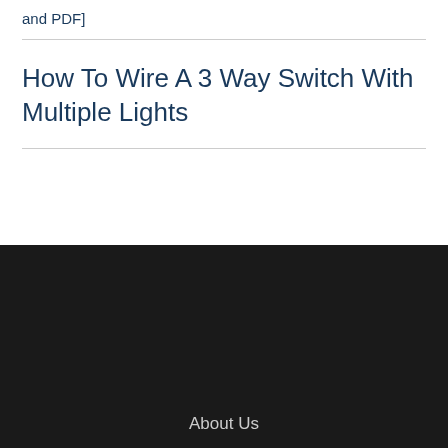and PDF]
How To Wire A 3 Way Switch With Multiple Lights
About Us